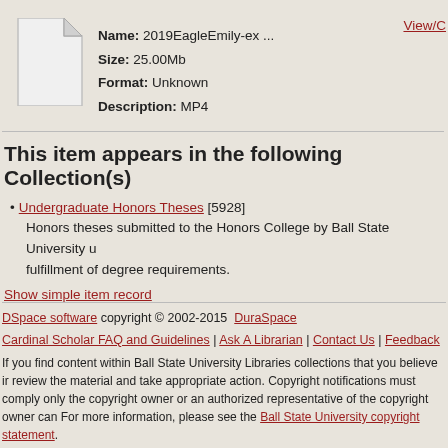[Figure (illustration): Generic file/document icon — white page with folded top-right corner]
Name: 2019EagleEmily-ex ...
Size: 25.00Mb
Format: Unknown
Description: MP4
View/C
This item appears in the following Collection(s)
Undergraduate Honors Theses [5928]
Honors theses submitted to the Honors College by Ball State University u fulfillment of degree requirements.
Show simple item record
DSpace software copyright © 2002-2015  DuraSpace
Cardinal Scholar FAQ and Guidelines | Ask A Librarian | Contact Us | Feedback
If you find content within Ball State University Libraries collections that you believe ir review the material and take appropriate action. Copyright notifications must comply only the copyright owner or an authorized representative of the copyright owner can For more information, please see the Ball State University copyright statement.